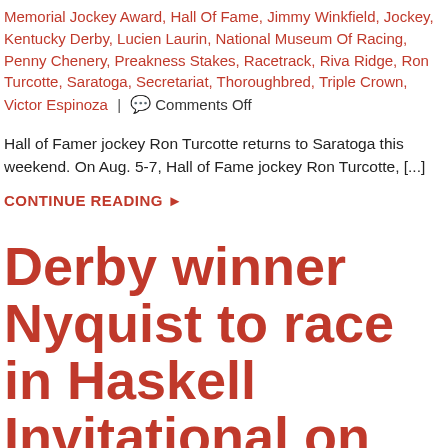Memorial Jockey Award, Hall Of Fame, Jimmy Winkfield, Jockey, Kentucky Derby, Lucien Laurin, National Museum Of Racing, Penny Chenery, Preakness Stakes, Racetrack, Riva Ridge, Ron Turcotte, Saratoga, Secretariat, Thoroughbred, Triple Crown, Victor Espinoza | 💬 Comments Off
Hall of Famer jockey Ron Turcotte returns to Saratoga this weekend. On Aug. 5-7, Hall of Fame jockey Ron Turcotte, [...]
CONTINUE READING ▶
Derby winner Nyquist to race in Haskell Invitational on Sunday